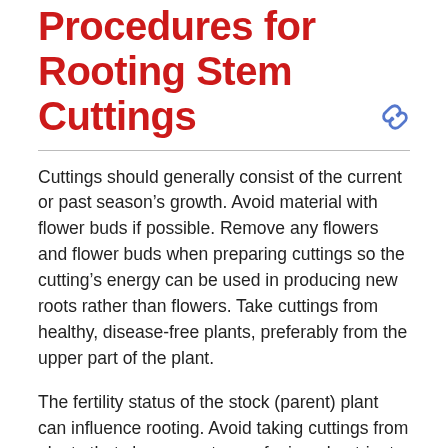Procedures for Rooting Stem Cuttings
Cuttings should generally consist of the current or past season’s growth. Avoid material with flower buds if possible. Remove any flowers and flower buds when preparing cuttings so the cutting’s energy can be used in producing new roots rather than flowers. Take cuttings from healthy, disease-free plants, preferably from the upper part of the plant.
The fertility status of the stock (parent) plant can influence rooting. Avoid taking cuttings from plants that show symptoms of mineral nutrient deficiency. Conversely, plants that have been fertilized heavily, particularly with nitrogen, may not root well. The stock plant should not be under moisture stress. In general, cuttings taken from young plants root in higher percentages than cuttings taken from older, more mature plants. Cuttings from lateral